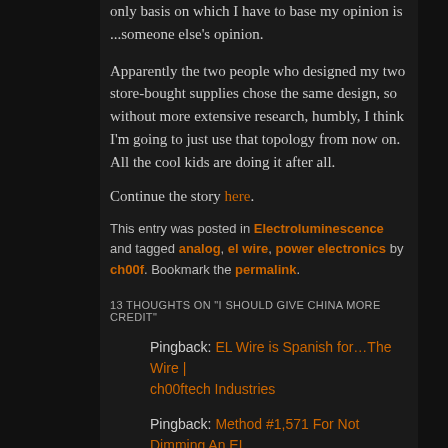only basis on which I have to base my opinion is ...someone else's opinion.
Apparently the two people who designed my two store-bought supplies chose the same design, so without more extensive research, humbly, I think I'm going to just use that topology from now on.  All the cool kids are doing it after all.
Continue the story here.
This entry was posted in Electroluminescence and tagged analog, el wire, power electronics by ch00f. Bookmark the permalink.
13 THOUGHTS ON "I SHOULD GIVE CHINA MORE CREDIT"
Pingback: EL Wire is Spanish for…The Wire | ch00ftech Industries
Pingback: Method #1,571 For Not Dimming An EL Panel: TRIAC | ch00ftech Industries